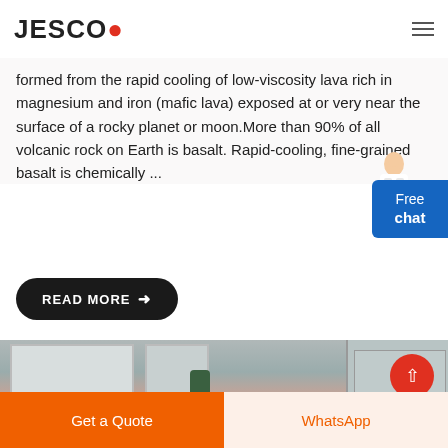JESCO
formed from the rapid cooling of low-viscosity lava rich in magnesium and iron (mafic lava) exposed at or very near the surface of a rocky planet or moon.More than 90% of all volcanic rock on Earth is basalt. Rapid-cooling, fine-grained basalt is chemically ...
READ MORE →
[Figure (photo): Photo of an industrial or construction site showing a building with windows, a plant, and an orange ramp or conveyor belt structure]
Free chat
Get a Quote
WhatsApp